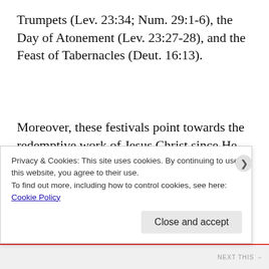Trumpets (Lev. 23:34; Num. 29:1-6), the Day of Atonement (Lev. 23:27-28), and the Feast of Tabernacles (Deut. 16:13).
Moreover, these festivals point towards the redemptive work of Jesus Christ since He arose on the Feast of the Firstfruits, provided atonement, and made us into the new tabernacles of the Holy Spirit. Lent is inspired by the festivals of old and Jesus'
Privacy & Cookies: This site uses cookies. By continuing to use this website, you agree to their use.
To find out more, including how to control cookies, see here:
Cookie Policy
Close and accept